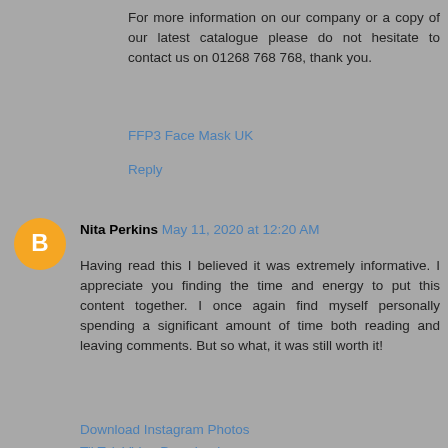For more information on our company or a copy of our latest catalogue please do not hesitate to contact us on 01268 768 768, thank you.
FFP3 Face Mask UK
Reply
Nita Perkins May 11, 2020 at 12:20 AM
Having read this I believed it was extremely informative. I appreciate you finding the time and energy to put this content together. I once again find myself personally spending a significant amount of time both reading and leaving comments. But so what, it was still worth it!
Download Instagram Photos
TikTok Video Downloader
online resize image
Reply
Business Promotion May 11, 2020 at 8:52 AM